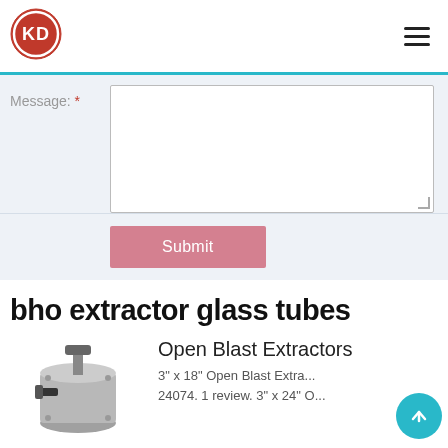[Figure (logo): KD logo: red circle with white K and D letters, double-ring border]
Message: *
[Figure (screenshot): Text area input field for message, empty, with resize handle]
[Figure (screenshot): Submit button, pink/rose color]
bho extractor glass tubes
[Figure (photo): Photo of an open blast extractor device, metallic cylindrical container with valve on top]
Open Blast Extractors
3" x 18" Open Blast Extra... 24074. 1 review. 3" x 24" O...